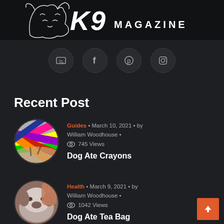[Figure (logo): K9 Magazine logo with stylized dog head sketch and bold italic text 'K9 MAGAZINE' on dark background]
[Figure (infographic): Row of four social media icon circles: YouTube, Facebook, Pinterest, Instagram on dark background]
Recent Post
[Figure (photo): Circular thumbnail photo of colorful crayons (pink, yellow, green, purple, red, orange) scattered together]
Guides • March 10, 2021 • by William Woodhouse • 745 Views
Dog Ate Crayons
[Figure (photo): Circular thumbnail photo of a dog being examined, showing a dog's face/head close up with a hand touching it]
Health • March 9, 2021 • by William Woodhouse • 1042 Views
Dog Ate Tea Bag